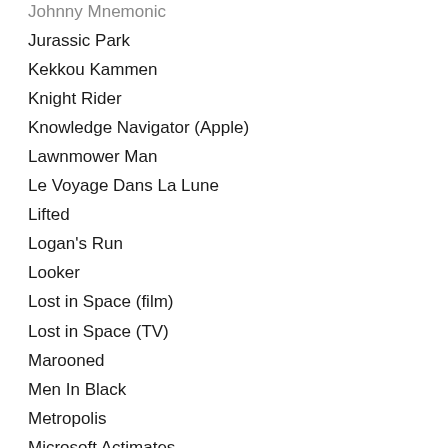Johnny Mnemonic
Jurassic Park
Kekkou Kammen
Knight Rider
Knowledge Navigator (Apple)
Lawnmower Man
Le Voyage Dans La Lune
Lifted
Logan's Run
Looker
Lost in Space (film)
Lost in Space (TV)
Marooned
Men In Black
Metropolis
Microsoft Actimates
Microsoft BOB
Microsoft Photosynth
Minority Report
Mission Man